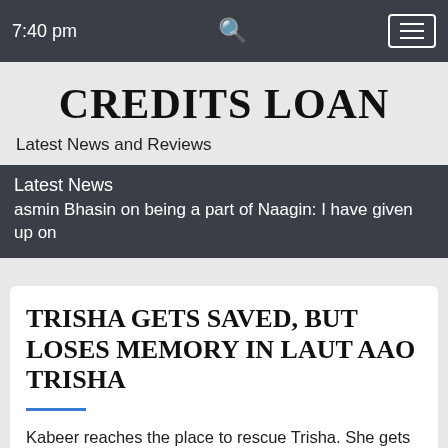7:40 pm
CREDITS LOAN
Latest News and Reviews
Latest News
asmin Bhasin on being a part of Naagin: I have given up on
TRISHA GETS SAVED, BUT LOSES MEMORY IN LAUT AAO TRISHA
Kabeer reaches the place to rescue Trisha. She gets shot and is found wounded. Kabeer finds Trisha unconscious on floor. He tries to wake her up. Pratik says he realized everyone's true faces and will take